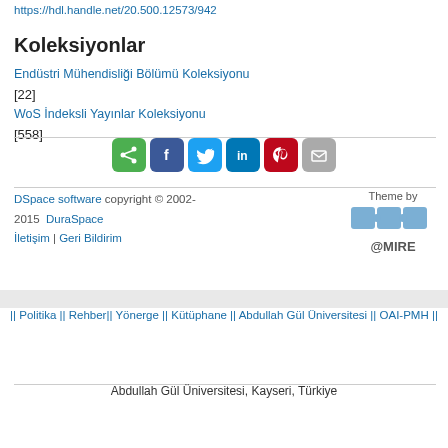https://hdl.handle.net/20.500.12573/942
Koleksiyonlar
Endüstri Mühendisliği Bölümü Koleksiyonu [22]
WoS İndeksli Yayınlar Koleksiyonu [558]
[Figure (other): Social sharing buttons: share (green), Facebook (blue), Twitter (light blue), LinkedIn (dark blue), Pinterest (red), email (gray)]
DSpace software copyright © 2002-2015  DuraSpace
İletişim | Geri Bildirim
[Figure (logo): @MIRE logo with puzzle piece icons and text 'Theme by @MIRE']
|| Politika || Rehber|| Yönerge || Kütüphane || Abdullah Gül Üniversitesi || OAI-PMH ||
Abdullah Gül Üniversitesi, Kayseri, Türkiye